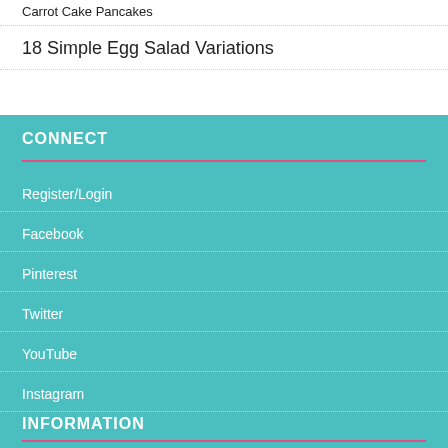Carrot Cake Pancakes
18 Simple Egg Salad Variations
CONNECT
Register/Login
Facebook
Pinterest
Twitter
YouTube
Instagram
INFORMATION